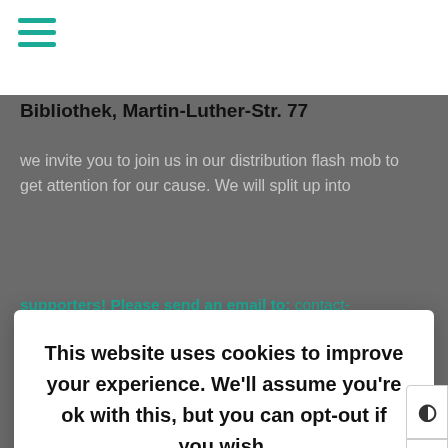[Figure (screenshot): Hamburger menu icon with three teal horizontal lines in the top-left white navigation bar]
Bibliothek, Martin-Luther-Str. 77
we invite you to join us in our distribution flash mob to get attention for our cause. We will split up into
supporters! Please send an email to: contact-english@encounter-blog.com
This website uses cookies to improve your experience. We'll assume you're ok with this, but you can opt-out if you wish.
Cookie settings    ACCEPT
From 19h we invite you to a reception in the Lichtburgforum: Behmstraße 13, 13357 Berlin (Gesundbrunnen subway and S-Bahn station) with live storytelling by Pinar Özütemiz, a performance by the